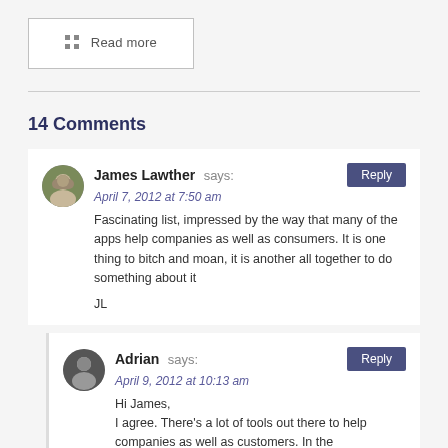Read more
14 Comments
James Lawther says:
April 7, 2012 at 7:50 am
Fascinating list, impressed by the way that many of the apps help companies as well as consumers. It is one thing to bitch and moan, it is another all together to do something about it

JL
Adrian says:
April 9, 2012 at 10:13 am
Hi James,
I agree. There's a lot of tools out there to help companies as well as customers. In the